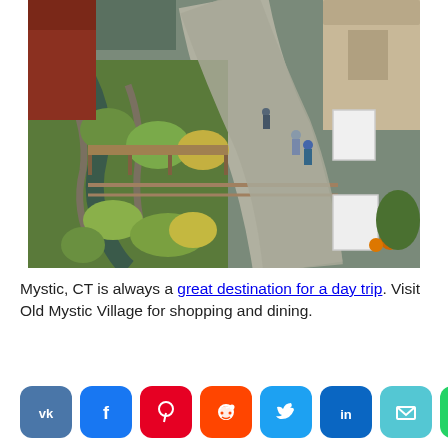[Figure (photo): Aerial view of Old Mystic Village showing a winding stream with stone edging and lush greenery on the left, a curved pathway with pedestrians on the right, red and beige buildings, and white signage boards near the entrance.]
Mystic, CT is always a great destination for a day trip. Visit Old Mystic Village for shopping and dining.
[Figure (infographic): Row of social media share buttons: VK, Facebook, Pinterest, Reddit, Twitter, LinkedIn, Email, WhatsApp, Blogger]